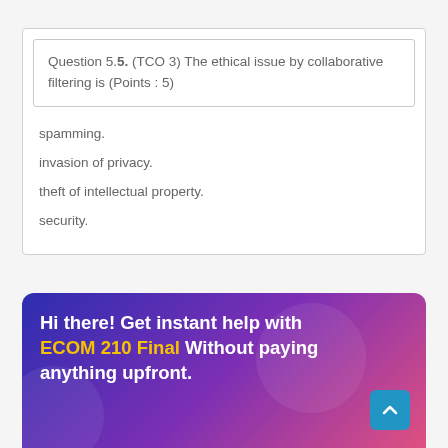Question 5.5. (TCO 3) The ethical issue by collaborative filtering is (Points : 5)
spamming.
invasion of privacy.
theft of intellectual property.
security.
[Figure (infographic): Advertisement banner with gradient background (blue to pink/red). Text reads: 'Hi there! Get instant help with ECOM 210 Final Without paying anything upfront.' with a scroll-to-top button.]